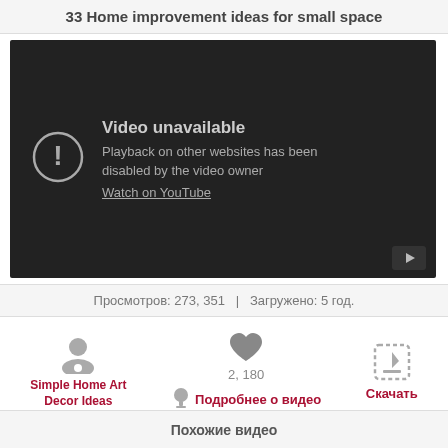33 Home improvement ideas for small space
[Figure (screenshot): Video unavailable placeholder from YouTube embed. Shows dark background with exclamation icon, text 'Video unavailable', 'Playback on other websites has been disabled by the video owner', and 'Watch on YouTube' link. YouTube icon in bottom right.]
Просмотров: 273, 351   |   Загружено: 5 год.
[Figure (infographic): Three action icons: user/channel icon with label 'Simple Home Art Decor Ideas' in red, heart icon with count '2, 180' and lightbulb icon with 'Подробнее о видео' in red, download icon with label 'Скачать' in red.]
Похожие видео